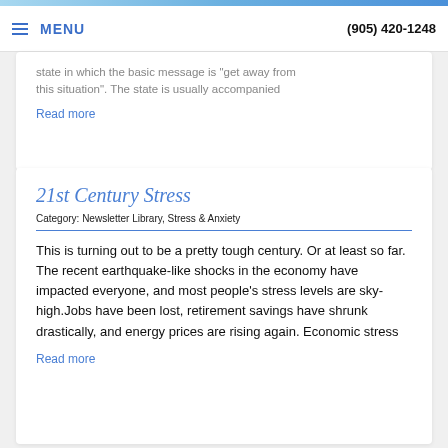MENU  (905) 420-1248
state in which the basic message is "get away from this situation". The state is usually accompanied
Read more
21st Century Stress
Category: Newsletter Library, Stress & Anxiety
This is turning out to be a pretty tough century. Or at least so far. The recent earthquake-like shocks in the economy have impacted everyone, and most people's stress levels are sky-high.Jobs have been lost, retirement savings have shrunk drastically, and energy prices are rising again. Economic stress
Read more